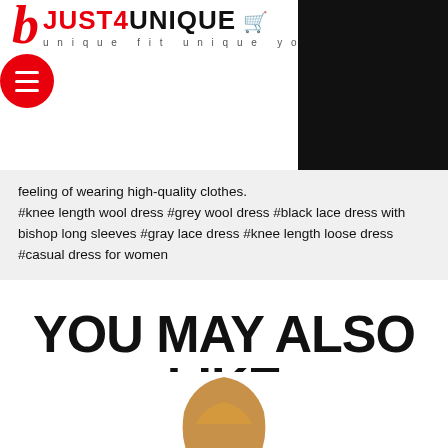JUST4UNIQUE – unique fit unique you (logo with hamburger menu)
feeling of wearing high-quality clothes.
#knee length wool dress #grey wool dress #black lace dress with bishop long sleeves #gray lace dress #knee length loose dress #casual dress for women
YOU MAY ALSO LIKE
[Figure (photo): Fashion model with long blonde hair and hoop earrings, wearing a light-colored dress, photographed from chest up on white background]